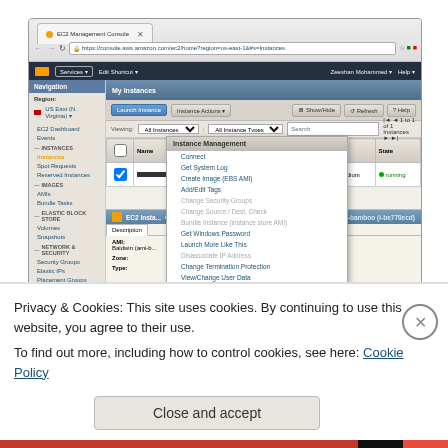[Figure (screenshot): AWS EC2 Management Console screenshot showing the My Instances view with Instance Actions dropdown menu open, displaying options: Connect, Get System Log, Create Image (EBS AMI), Add/Edit Tags, Change Security Groups, Change Source / Dest. Check, Bundle Instance (instance store AMI), Get Windows Password, Launch More Like This, Disassociate IP Address, Change Termination Protection, View/Change User Data, Change Instance Type, Change Shutdown Behavior, Attach Network Interface, Detach Network Interface, Manage Private IP Addresses. The browser shows URL https://console.aws.amazon.com/ec2/home?region=us-east-1#s=Instances]
Privacy & Cookies: This site uses cookies. By continuing to use this website, you agree to their use.
To find out more, including how to control cookies, see here: Cookie Policy
Close and accept